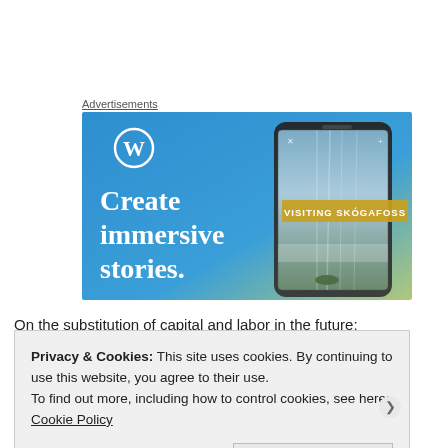Advertisements
[Figure (screenshot): WordPress advertisement banner with blue-to-green gradient background. Shows WordPress logo (W in circle) at top left. Large white text reads 'Create immersive stories.' On the right is a smartphone showing a waterfall photo with text 'VISITING SKÓGAFOSS'.]
On the substitution of capital and labor in the future:
Privacy & Cookies: This site uses cookies. By continuing to use this website, you agree to their use.
To find out more, including how to control cookies, see here: Cookie Policy
Close and accept